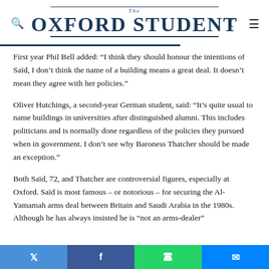The Oxford Student
First year Phil Bell added: “I think they should honour the intentions of Saïd, I don’t think the name of a building means a great deal. It doesn’t mean they agree with her policies.”
Oliver Hutchings, a second-year German student, said: “It’s quite usual to name buildings in universities after distinguished alumni. This includes politicians and is normally done regardless of the policies they pursued when in government. I don’t see why Baroness Thatcher should be made an exception.”
Both Saïd, 72, and Thatcher are controversial figures, especially at Oxford. Saïd is most famous – or notorious – for securing the Al-Yamamah arms deal between Britain and Saudi Arabia in the 1980s. Although he has always insisted he is “not an arms-dealer”
Twitter | Facebook | WhatsApp | Messenger